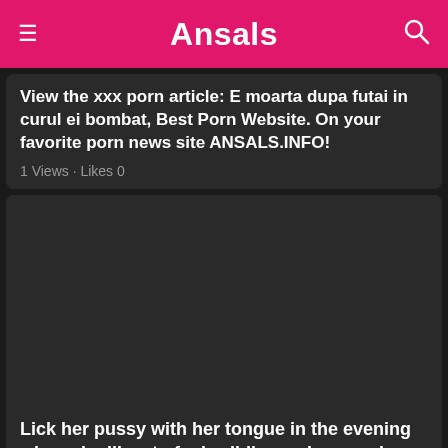Ansals
View the xxx porn article: E moarta dupa futai in curul ei bombat, Best Porn Website. On your favorite porn news site ANSALS.INFO!
1 Views · Likes 0
[Figure (photo): Dark placeholder image area for article thumbnail]
Lick her pussy with her tongue in the evening when she likes to fuck wildly so she can sleep peacefully
View the xxx porn article: Lick her pussy with her tongue in the evening when she likes to fuck wildly so she can sleep peacefully, Best Porn Website. On your favorite